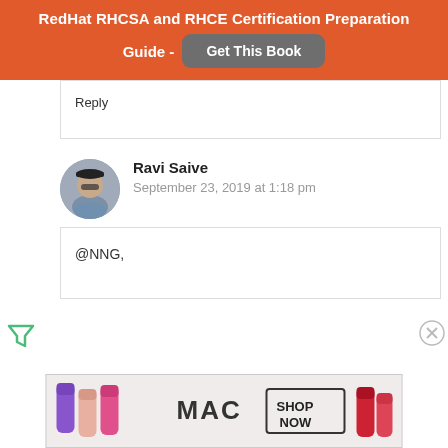RedHat RHCSA and RHCE Certification Preparation Guide - Get This Book
Reply
Ravi Saive
September 23, 2019 at 1:18 pm
@NNG,
[Figure (photo): MAC lipsticks advertisement banner with SHOP NOW button]